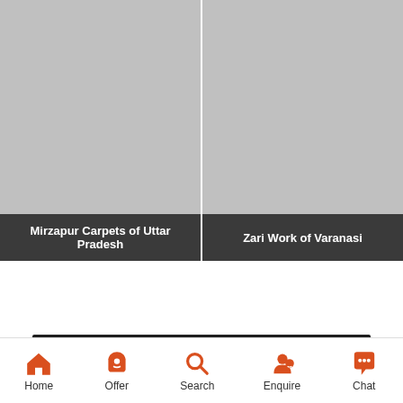[Figure (photo): Gray placeholder image for Mirzapur Carpets]
Mirzapur Carpets of Uttar Pradesh
[Figure (photo): Gray placeholder image for Zari Work of Varanasi]
Zari Work of Varanasi
More about Uttar Pradesh
Home | Offer | Search | Enquire | Chat